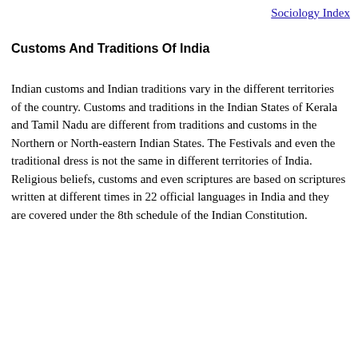Sociology Index
Customs And Traditions Of India
Indian customs and Indian traditions vary in the different territories of the country. Customs and traditions in the Indian States of Kerala and Tamil Nadu are different from traditions and customs in the Northern or North-eastern Indian States. The Festivals and even the traditional dress is not the same in different territories of India. Religious beliefs, customs and even scriptures are based on scriptures written at different times in 22 official languages in India and they are covered under the 8th schedule of the Indian Constitution.